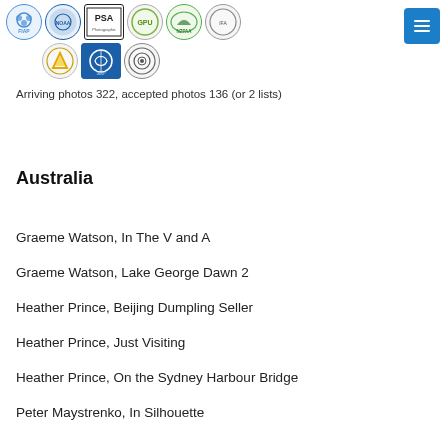[Figure (logo): Row of organization logos including FIAP, NOAA, PSA, GPU, NZPAS, and others in two rows]
Arriving photos 322, accepted photos 136 (or 2 lists)
Australia
Graeme Watson, In The V and A
Graeme Watson, Lake George Dawn 2
Heather Prince, Beijing Dumpling Seller
Heather Prince, Just Visiting
Heather Prince, On the Sydney Harbour Bridge
Peter Maystrenko, In Silhouette